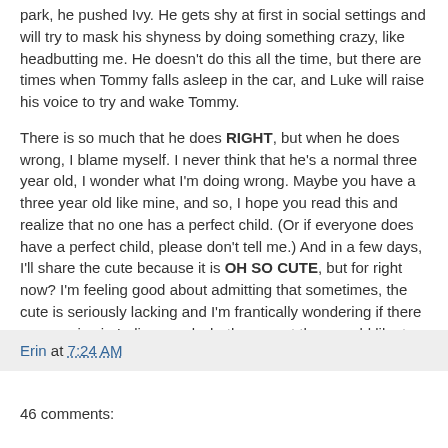park, he pushed Ivy. He gets shy at first in social settings and will try to mask his shyness by doing something crazy, like headbutting me. He doesn't do this all the time, but there are times when Tommy falls asleep in the car, and Luke will raise his voice to try and wake Tommy.
There is so much that he does RIGHT, but when he does wrong, I blame myself. I never think that he's a normal three year old, I wonder what I'm doing wrong. Maybe you have a three year old like mine, and so, I hope you read this and realize that no one has a perfect child. (Or if everyone does have a perfect child, please don't tell me.) And in a few days, I'll share the cute because it is OH SO CUTE, but for right now? I'm feeling good about admitting that sometimes, the cute is seriously lacking and I'm frantically wondering if there are gypsies in Indiana and whether or not they would like to buy my child.
Erin at 7:24 AM
46 comments: